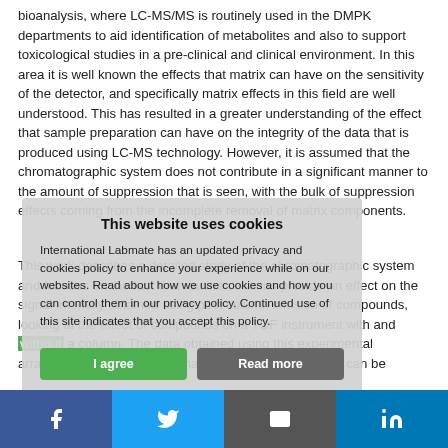bioanalysis, where LC-MS/MS is routinely used in the DMPK departments to aid identification of metabolites and also to support toxicological studies in a pre-clinical and clinical environment. In this area it is well known the effects that matrix can have on the sensitivity of the detector, and specifically matrix effects in this field are well understood. This has resulted in a greater understanding of the effect that sample preparation can have on the integrity of the data that is produced using LC-MS technology. However, it is assumed that the chromatographic system does not contribute in a significant manner to the amount of suppression that is seen, with the bulk of suppression effects coming from the incomplete removal of matrix components.
This work describes a detailed study of the chromatographic system does not contribute to the amount of suppression that is seen, with the bulk of suppression effects coming from the incomplete removal of matrix components. The work will focus on the fact that routine columns provide an effect on the signal intensity obtained using post column infusion of compounds, looking at the effect of compound on a TOF instrument with and without a column. The data obtained using this experimental arrangement demonstrates that the effect of the column can be
This website uses cookies

International Labmate has an updated privacy and cookies policy to enhance your experience while on our websites. Read about how we use cookies and how you can control them in our privacy policy. Continued use of this site indicates that you accept this policy.

I agree   Read more